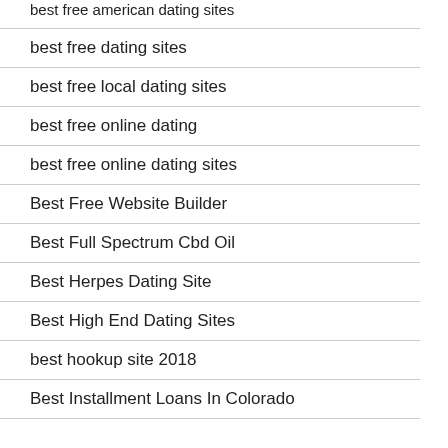best free american dating sites
best free dating sites
best free local dating sites
best free online dating
best free online dating sites
Best Free Website Builder
Best Full Spectrum Cbd Oil
Best Herpes Dating Site
Best High End Dating Sites
best hookup site 2018
Best Installment Loans In Colorado